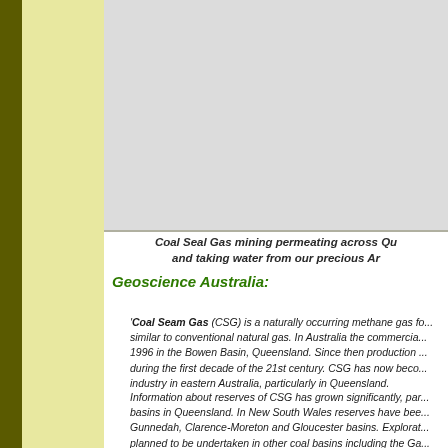[Figure (photo): Aerial or landscape photograph showing Coal Seal Gas mining operations across Queensland, partially visible at top of page]
Coal Seal Gas mining permeating across Qu... and taking water from our precious Ar...
Geoscience Australia:
'Coal Seam Gas (CSG) is a naturally occurring methane gas fo... similar to conventional natural gas. In Australia the commercia... 1996 in the Bowen Basin, Queensland. Since then production ... during the first decade of the 21st century. CSG has now beco... industry in eastern Australia, particularly in Queensland.
Information about reserves of CSG has grown significantly, par... basins in Queensland. In New South Wales reserves have bee... Gunnedah, Clarence-Moreton and Gloucester basins. Explorat... planned to be undertaken in other coal basins including the Ga...